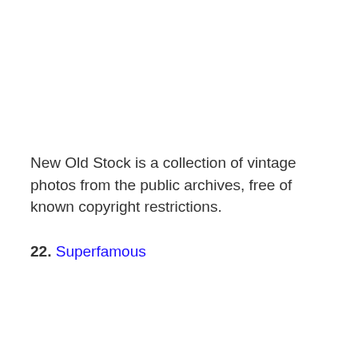New Old Stock is a collection of vintage photos from the public archives, free of known copyright restrictions.
22. Superfamous